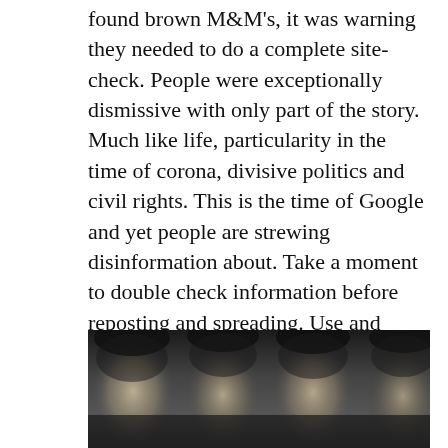found brown M&M's, it was warning they needed to do a complete site-check. People were exceptionally dismissive with only part of the story. Much like life, particularity in the time of corona, divisive politics and civil rights. This is the time of Google and yet people are strewing disinformation about. Take a moment to double check information before reposting and spreading. Use and donate to Snopes². We're all on electronic overload, so before you send something, post something, please stop and think, is this true, is this rational, is this useful? We have to start Learning to See.
[Figure (photo): Black and white photograph of four people (band members) with long hair, looking at the camera.]